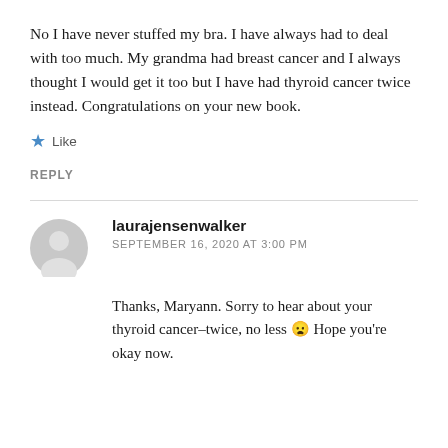No I have never stuffed my bra. I have always had to deal with too much. My grandma had breast cancer and I always thought I would get it too but I have had thyroid cancer twice instead. Congratulations on your new book.
★ Like
REPLY
laurajensenwalker
SEPTEMBER 16, 2020 AT 3:00 PM
Thanks, Maryann. Sorry to hear about your thyroid cancer–twice, no less 😦 Hope you're okay now.